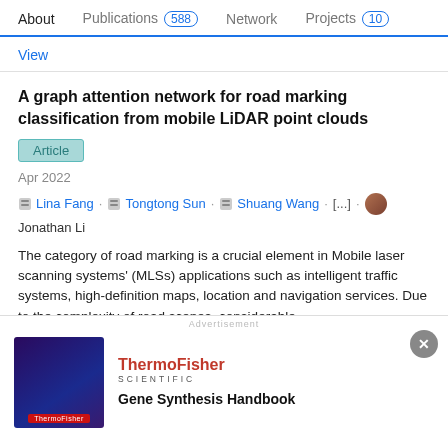About  Publications 588  Network  Projects 10
View
A graph attention network for road marking classification from mobile LiDAR point clouds
Article
Apr 2022
Lina Fang . Tongtong Sun . Shuang Wang . [...] . Jonathan Li
The category of road marking is a crucial element in Mobile laser scanning systems' (MLSs) applications such as intelligent traffic systems, high-definition maps, location and navigation services. Due to the complexity of road scenes, considerable
[Figure (screenshot): Advertisement banner for ThermoFisher Scientific Gene Synthesis Handbook with a dark purple/blue background image on the left and text on the right.]